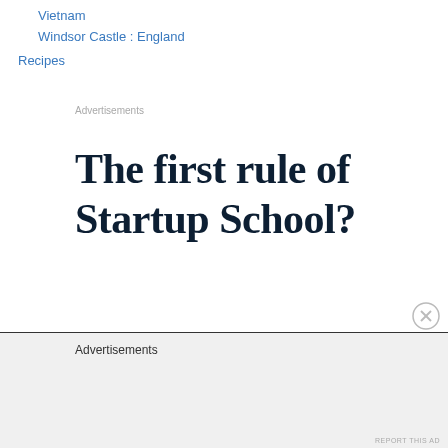Vietnam
Windsor Castle : England
Recipes
Advertisements
[Figure (other): Advertisement banner with bold serif text reading 'The first rule of Startup School?']
Advertisements
REPORT THIS AD